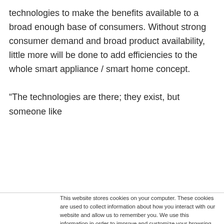technologies to make the benefits available to a broad enough base of consumers. Without strong consumer demand and broad product availability, little more will be done to add efficiencies to the whole smart appliance / smart home concept.

“The technologies are there; they exist, but someone like
This website stores cookies on your computer. These cookies are used to collect information about how you interact with our website and allow us to remember you. We use this information in order to improve and customize your browsing experience and for analytics and metrics about our visitors both on this website and other media. To find out more about the cookies we use, see our Privacy Policy. California residents have the right to direct us not to sell their personal information to third parties by filing an Opt-Out Request: Do Not Sell My Personal Info.
Accept